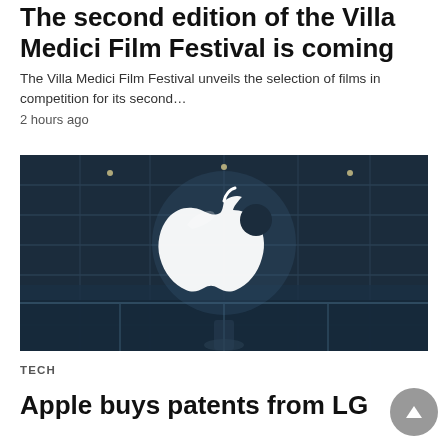The second edition of the Villa Medici Film Festival is coming
The Villa Medici Film Festival unveils the selection of films in competition for its second…
2 hours ago
[Figure (photo): Apple store glass ceiling with illuminated Apple logo (white apple on dark glass ceiling), person visible below reflected in glass]
TECH
Apple buys patents from LG